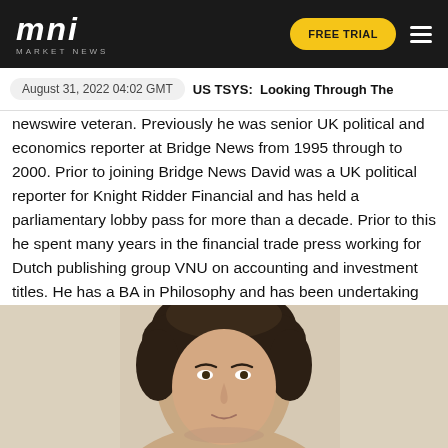mni MARKET NEWS | FREE TRIAL
August 31, 2022 04:02 GMT   US TSYS:  Looking Through The
newswire veteran. Previously he was senior UK political and economics reporter at Bridge News from 1995 through to 2000. Prior to joining Bridge News David was a UK political reporter for Knight Ridder Financial and has held a parliamentary lobby pass for more than a decade. Prior to this he spent many years in the financial trade press working for Dutch publishing group VNU on accounting and investment titles. He has a BA in Philosophy and has been undertaking post-graduate studies in Economics.
[Figure (photo): Headshot photograph of a man with dark curly hair, shown from the shoulders up against a light blurred background.]